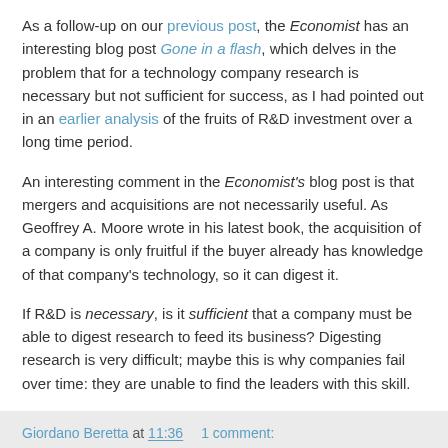As a follow-up on our previous post, the Economist has an interesting blog post Gone in a flash, which delves in the problem that for a technology company research is necessary but not sufficient for success, as I had pointed out in an earlier analysis of the fruits of R&D investment over a long time period.
An interesting comment in the Economist's blog post is that mergers and acquisitions are not necessarily useful. As Geoffrey A. Moore wrote in his latest book, the acquisition of a company is only fruitful if the buyer already has knowledge of that company's technology, so it can digest it.
If R&D is necessary, is it sufficient that a company must be able to digest research to feed its business? Digesting research is very difficult; maybe this is why companies fail over time: they are unable to find the leaders with this skill.
Giordano Beretta at 11:36   1 comment: